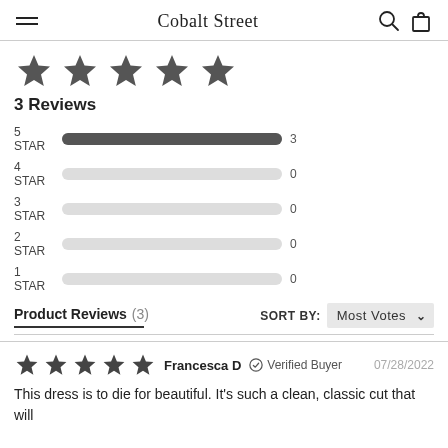Cobalt Street
[Figure (other): Five filled dark grey star icons representing a 5-star rating]
3 Reviews
[Figure (bar-chart): Star rating distribution]
Product Reviews (3)
SORT BY: Most Votes
[Figure (other): Five filled dark grey star icons for reviewer rating]
Francesca D  ✓ Verified Buyer  07/28/2022
This dress is to die for beautiful. It's such a clean, classic cut that will